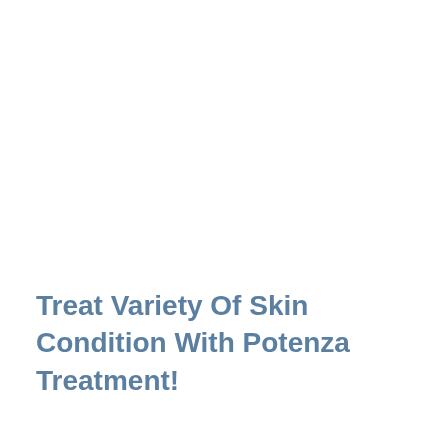Treat Variety Of Skin Condition With Potenza Treatment!